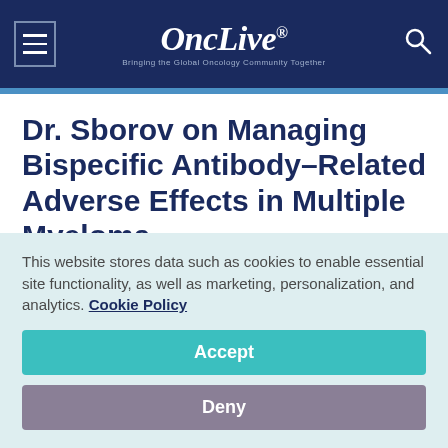OncLive® — Bringing the Global Oncology Community Together
Dr. Sborov on Managing Bispecific Antibody–Related Adverse Effects in Multiple Myeloma
September 30, 2021
This website stores data such as cookies to enable essential site functionality, as well as marketing, personalization, and analytics. Cookie Policy
Accept
Deny